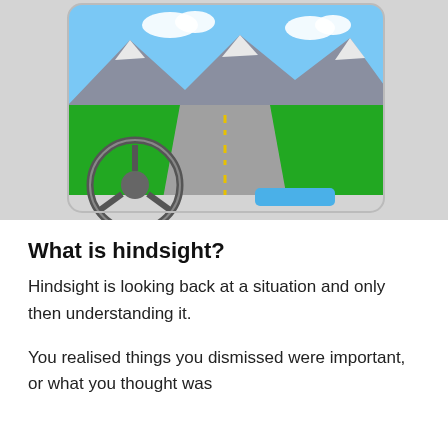[Figure (illustration): Cartoon illustration of a first-person driver view from inside a car. The scene shows a road ahead with yellow dashed centre lines, green grassy hills, grey mountains with snow caps, a blue sky with white clouds, a steering wheel on the left, and a blue dashboard element on the right. The illustration is inside a rounded rectangle on a light grey background.]
What is hindsight?
Hindsight is looking back at a situation and only then understanding it.
You realised things you dismissed were important, or what you thought was